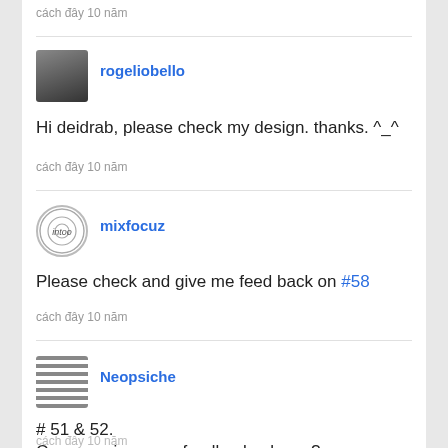cách đây 10 năm
rogeliobello
Hi deidrab, please check my design. thanks. ^_^
cách đây 10 năm
mixfocuz
Please check and give me feed back on #58
cách đây 10 năm
Neopsiche
# 51 & 52.
Can you give me a feedback, please?
cách đây 10 năm